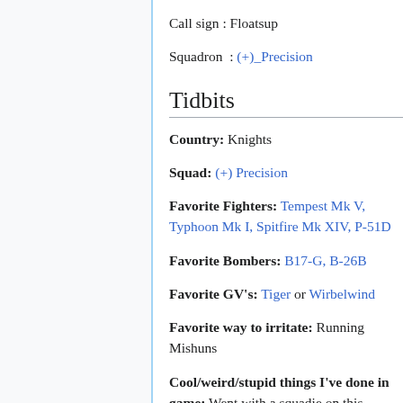Call sign : Floatsup
Squadron  :  (+)_Precision
Tidbits
Country: Knights
Squad: (+) Precision
Favorite Fighters: Tempest Mk V, Typhoon Mk I, Spitfire Mk XIV, P-51D
Favorite Bombers: B17-G, B-26B
Favorite GV's: Tiger or Wirbelwind
Favorite way to irritate: Running Mishuns
Cool/weird/stupid things I've done in game: Went with a squadie on this stupid trip User:Kvuo75 as he said "Chased an AFK-in-autoclimb 190A8 6 or 7 sectors off map WITH a 190A8, until